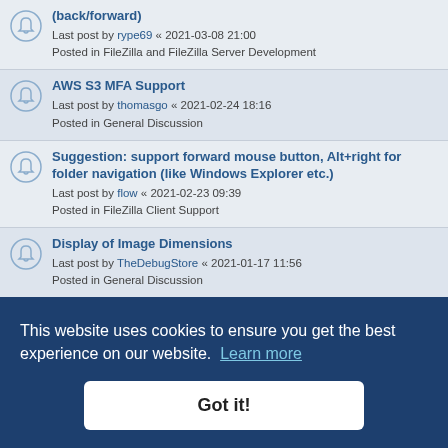(back/forward) Last post by rype69 « 2021-03-08 21:00 Posted in FileZilla and FileZilla Server Development
AWS S3 MFA Support Last post by thomasgo « 2021-02-24 18:16 Posted in General Discussion
Suggestion: support forward mouse button, Alt+right for folder navigation (like Windows Explorer etc.) Last post by flow « 2021-02-23 09:39 Posted in FileZilla Client Support
Display of Image Dimensions Last post by TheDebugStore « 2021-01-17 11:56 Posted in General Discussion
File Search window issue Last post by HakanToptas « 2021-01-03 18:39 Posted in FileZilla Client Support
What if Last post by iceman980 « 2020-12-29 14:47 Posted in General Discussion
Just an idea: remember last opened folders per connection (partially visible)
Download file by se... (partially visible)
Captcha in FileZilla Forums
This website uses cookies to ensure you get the best experience on our website. Learn more
Got it!